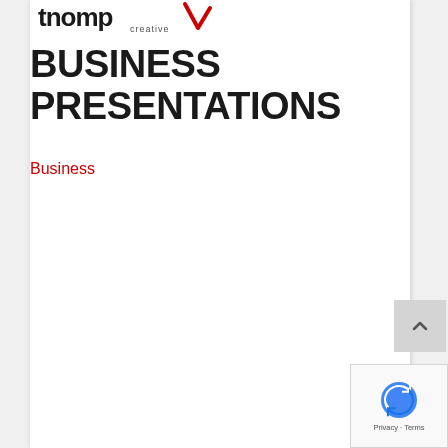[Figure (logo): tnomp creative logo with red swoosh/checkmark accent]
BUSINESS PRESENTATIONS
Business